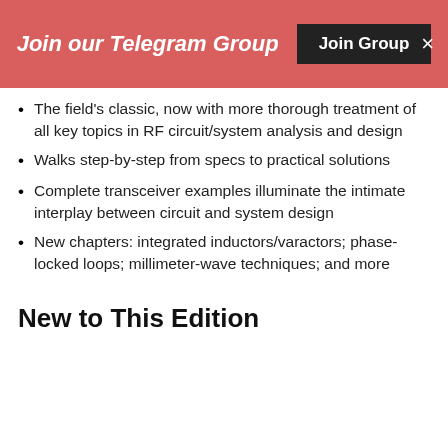Join our Telegram Group  Join Group  ×
The field's classic, now with more thorough treatment of all key topics in RF circuit/system analysis and design
Walks step-by-step from specs to practical solutions
Complete transceiver examples illuminate the intimate interplay between circuit and system design
New chapters: integrated inductors/varactors; phase-locked loops; millimeter-wave techniques; and more
New to This Edition